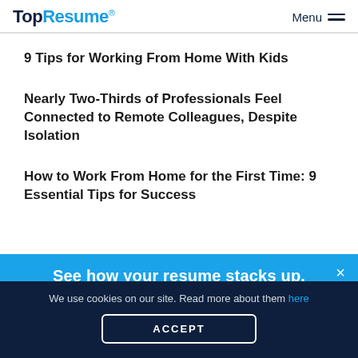TopResume® Menu
9 Tips for Working From Home With Kids
Nearly Two-Thirds of Professionals Feel Connected to Remote Colleagues, Despite Isolation
How to Work From Home for the First Time: 9 Essential Tips for Success
See how your resume stacks up.
We use cookies on our site. Read more about them here
ACCEPT